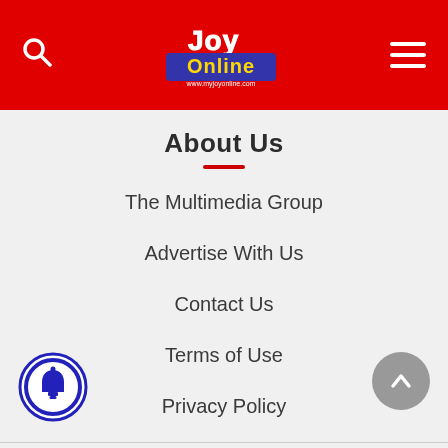JoyOnline - header navigation with search and menu
About Us
The Multimedia Group
Advertise With Us
Contact Us
Terms of Use
Privacy Policy
Radio
Joy 99.7 FM
Adom 106.3 FM